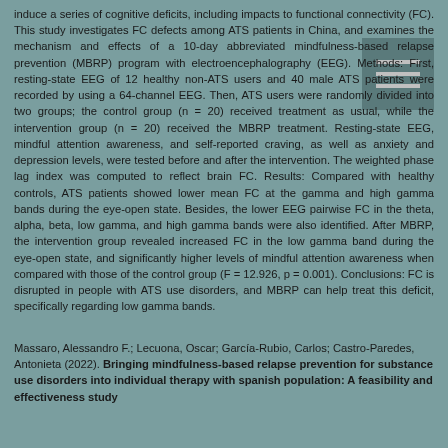induce a series of cognitive deficits, including impacts to functional connectivity (FC). This study investigates FC defects among ATS patients in China, and examines the mechanism and effects of a 10-day abbreviated mindfulness-based relapse prevention (MBRP) program with electroencephalography (EEG). Methods: First, resting-state EEG of 12 healthy non-ATS users and 40 male ATS patients were recorded by using a 64-channel EEG. Then, ATS users were randomly divided into two groups; the control group (n = 20) received treatment as usual, while the intervention group (n = 20) received the MBRP treatment. Resting-state EEG, mindful attention awareness, and self-reported craving, as well as anxiety and depression levels, were tested before and after the intervention. The weighted phase lag index was computed to reflect brain FC. Results: Compared with healthy controls, ATS patients showed lower mean FC at the gamma and high gamma bands during the eye-open state. Besides, the lower EEG pairwise FC in the theta, alpha, beta, low gamma, and high gamma bands were also identified. After MBRP, the intervention group revealed increased FC in the low gamma band during the eye-open state, and significantly higher levels of mindful attention awareness when compared with those of the control group (F = 12.926, p = 0.001). Conclusions: FC is disrupted in people with ATS use disorders, and MBRP can help treat this deficit, specifically regarding low gamma bands.
Massaro, Alessandro F.; Lecuona, Oscar; García-Rubio, Carlos; Castro-Paredes, Antonieta (2022). Bringing mindfulness-based relapse prevention for substance use disorders into individual therapy with spanish population: A feasibility and effectiveness study